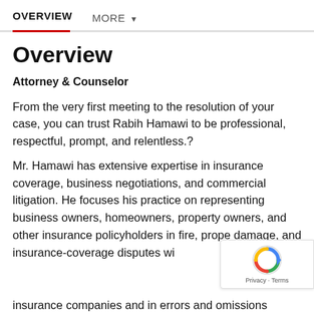OVERVIEW   MORE ▼
Overview
Attorney & Counselor
From the very first meeting to the resolution of your case, you can trust Rabih Hamawi to be professional, respectful, prompt, and relentless.?
Mr. Hamawi has extensive expertise in insurance coverage, business negotiations, and commercial litigation. He focuses his practice on representing business owners, homeowners, property owners, and other insurance policyholders in fire, prope damage, and insurance-coverage disputes wi insurance companies and in errors and omissions